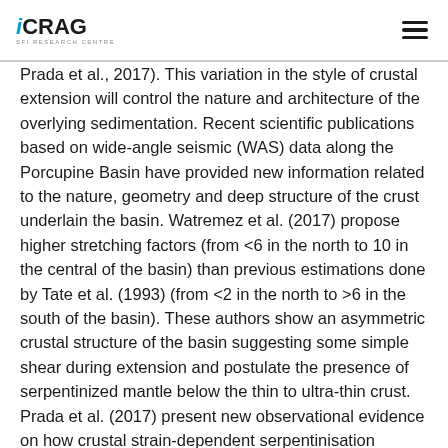iCRAG SFI Research Centre
Prada et al., 2017). This variation in the style of crustal extension will control the nature and architecture of the overlying sedimentation. Recent scientific publications based on wide-angle seismic (WAS) data along the Porcupine Basin have provided new information related to the nature, geometry and deep structure of the crust underlain the basin. Watremez et al. (2017) propose higher stretching factors (from <6 in the north to 10 in the central of the basin) than previous estimations done by Tate et al. (1993) (from <2 in the north to >6 in the south of the basin). These authors show an asymmetric crustal structure of the basin suggesting some simple shear during extension and postulate the presence of serpentinized mantle below the thin to ultra-thin crust. Prada et al. (2017) present new observational evidence on how crustal strain-dependent serpentinisation influences hyperextension from rifting to possible crustal breakup along the axis of the Porcupine Basin. Based on three WAS profiles, these authors show the seismic